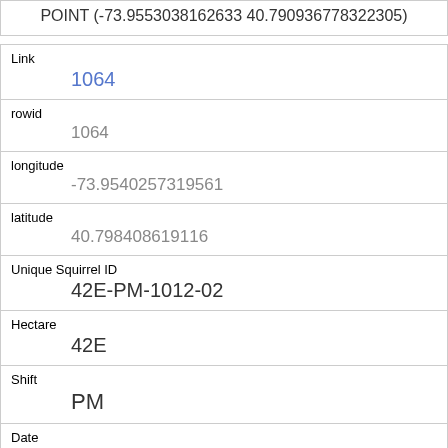POINT (-73.9553038162633 40.790936778322305)
| Link | 1064 |
| rowid | 1064 |
| longitude | -73.9540257319561 |
| latitude | 40.798408619116 |
| Unique Squirrel ID | 42E-PM-1012-02 |
| Hectare | 42E |
| Shift | PM |
| Date | 10122018 |
| Hectare Squirrel Number | 2 |